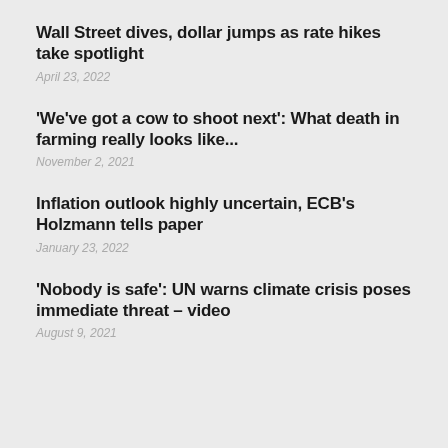Wall Street dives, dollar jumps as rate hikes take spotlight
April 23, 2022
'We've got a cow to shoot next': What death in farming really looks like...
November 2, 2021
Inflation outlook highly uncertain, ECB's Holzmann tells paper
January 23, 2022
'Nobody is safe': UN warns climate crisis poses immediate threat – video
August 9, 2021